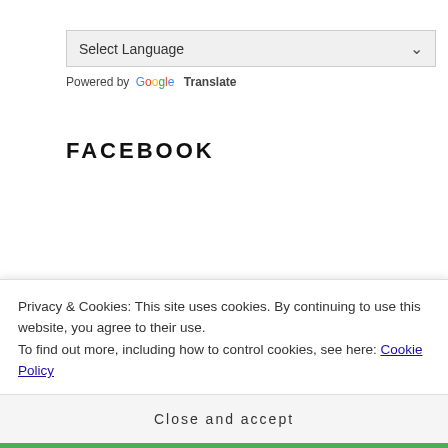[Figure (screenshot): Select Language dropdown widget with chevron]
Powered by Google Translate
FACEBOOK
SOCIAL
Privacy & Cookies: This site uses cookies. By continuing to use this website, you agree to their use.
To find out more, including how to control cookies, see here: Cookie Policy
Close and accept